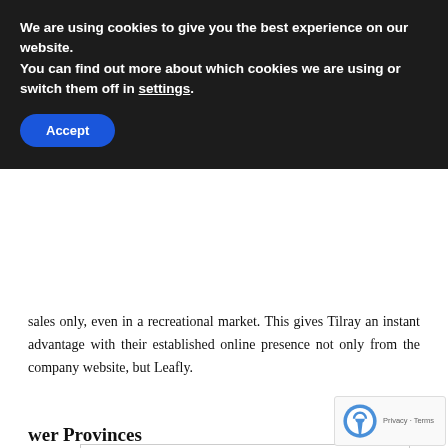[Figure (screenshot): Cookie consent banner with dark background. Text reads: 'We are using cookies to give you the best experience on our website. You can find out more about which cookies we are using or switch them off in settings.' with an 'Accept' button.]
sales only, even in a recreational market. This gives Tilray an instant advantage with their established online presence not only from the company website, but Leafly.
P
o
[Figure (other): Pull quote box with border: 'However, the two largest provinces are also where the competition will be most intense nationally.']
wer Provinces